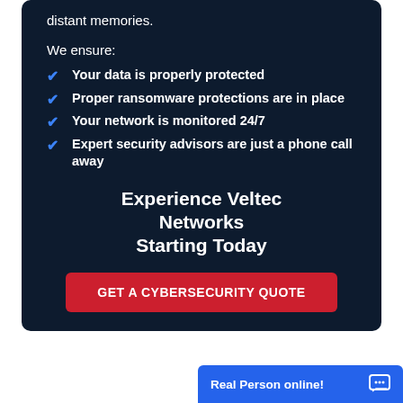distant memories.
We ensure:
Your data is properly protected
Proper ransomware protections are in place
Your network is monitored 24/7
Expert security advisors are just a phone call away
Experience Veltec Networks Starting Today
GET A CYBERSECURITY QUOTE
Real Person online!